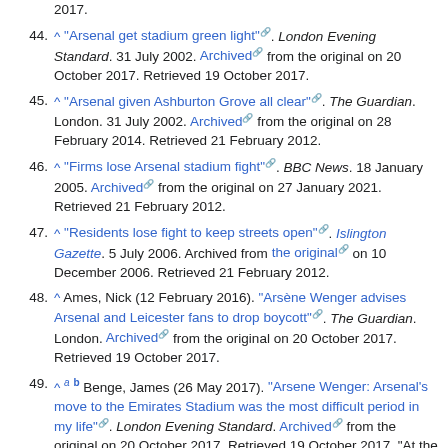2017.
44. ^ "Arsenal get stadium green light". London Evening Standard. 31 July 2002. Archived from the original on 20 October 2017. Retrieved 19 October 2017.
45. ^ "Arsenal given Ashburton Grove all clear". The Guardian. London. 31 July 2002. Archived from the original on 28 February 2014. Retrieved 21 February 2012.
46. ^ "Firms lose Arsenal stadium fight". BBC News. 18 January 2005. Archived from the original on 27 January 2021. Retrieved 21 February 2012.
47. ^ "Residents lose fight to keep streets open". Islington Gazette. 5 July 2006. Archived from the original on 10 December 2006. Retrieved 21 February 2012.
48. ^ Ames, Nick (12 February 2016). "Arsène Wenger advises Arsenal and Leicester fans to drop boycott". The Guardian. London. Archived from the original on 20 October 2017. Retrieved 19 October 2017.
49. ^ a b Benge, James (26 May 2017). "Arsene Wenger: Arsenal's move to the Emirates Stadium was the most difficult period in my life". London Evening Standard. Archived from the original on 20 October 2017. Retrieved 19 October 2017. "At the time it was £4,000 a seat. You multiply that by 60,000 it's £240million. Plus we